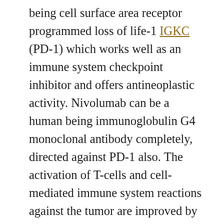being cell surface area receptor programmed loss of life-1 IGKC (PD-1) which works well as an immune system checkpoint inhibitor and offers antineoplastic activity. Nivolumab can be a human being immunoglobulin G4 monoclonal antibody completely, directed against PD-1 also. The activation of T-cells and cell-mediated immune system reactions against the tumor are improved by obstructing the activation of PD-1 by its ligands designed cell loss of life ligand 1 (PD-L1)overexpressed on particular cancer cellsand designed cell loss of life ligand 2 (PD-L2), which is expressed on antigen-presenting cells primarily. In fact, triggered PD-1 regulates T-cell activation adversely, playing a simple part in tumor get away from sponsor immunity. The